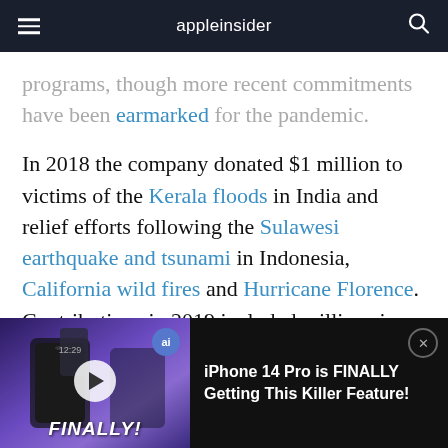appleinsider
programs, though more recent commitments have been earmarked for the pandemic.
In 2018 the company donated $1 million to victims of the Kerala floods in India and relief efforts following the Sulawesi earthquake and tsunami in Indonesia, California wild fires and Hurricane Florence. Contributions in 2019 included millions in aid for the California wild fires...
[Figure (screenshot): Video ad overlay showing 'iPhone 14 Pro is FINALLY Getting This Killer Feature!' with thumbnail showing a hand holding a phone and bold italic text 'FINALLY!' at the bottom. Has an AI badge, play button, and close button.]